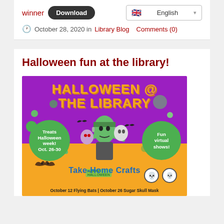winner  Download  English
October 28, 2020 in Library Blog  Comments (0)
Halloween fun at the library!
[Figure (illustration): Halloween @ The Library promotional poster with purple and orange background, green circle bubbles reading 'Treats Halloween week! Oct. 26-30' and 'Fun virtual shows!', Halloween monster cartoon characters in the center, bats, skulls, text 'Take-Home Crafts', and bottom text 'October 12 Flying Bats | October 26 Sugar Skull Mask']